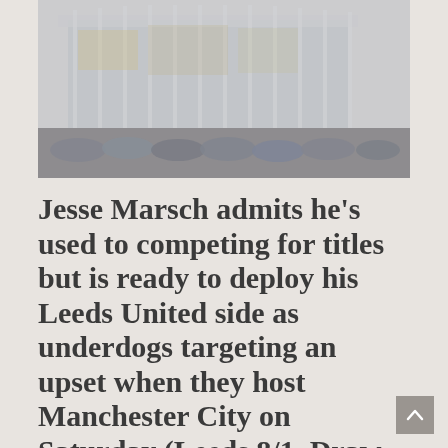[Figure (photo): Exterior photo of a large sports stadium with cars parked in the foreground, taken on an overcast day. The image appears faded/washed out.]
Jesse Marsch admits he's used to competing for titles but is ready to deploy his Leeds United side as underdogs targeting an upset when they host Manchester City on Saturday (Leeds 8/1, Draw 9/2, Manchester City 3/10 – Match Betting)